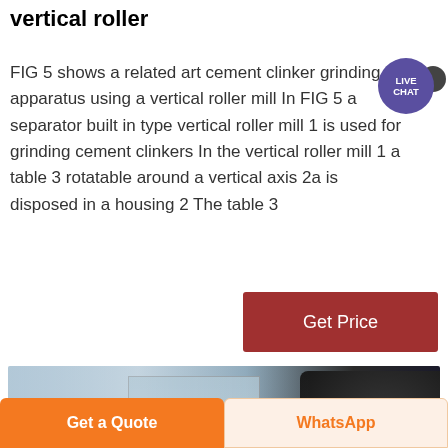vertical roller
FIG 5 shows a related art cement clinker grinding apparatus using a vertical roller mill In FIG 5 a separator built in type vertical roller mill 1 is used for grinding cement clinkers In the vertical roller mill 1 a table 3 rotatable around a vertical axis 2a is disposed in a housing 2 The table 3
[Figure (illustration): Live Chat bubble icon with dark purple circle and chat tail]
[Figure (photo): Interior of industrial facility showing ceiling, windows, pipes, and large dark industrial machinery on the right side]
Get Price
Get a Quote
WhatsApp